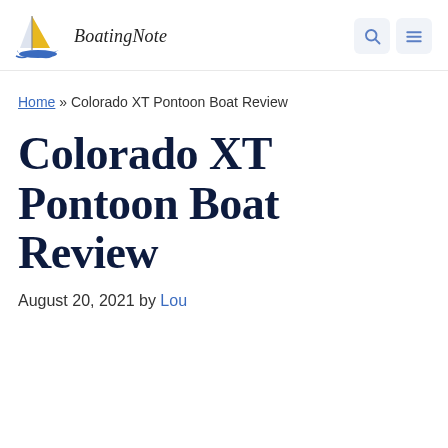BoatingNote
Home » Colorado XT Pontoon Boat Review
Colorado XT Pontoon Boat Review
August 20, 2021 by Lou